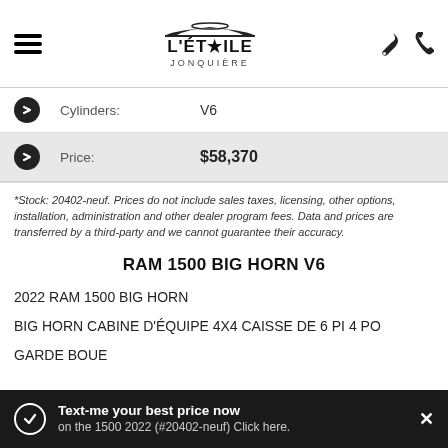L'ÉTOILE JONQUIÈRE
|  | Field | Value |
| --- | --- | --- |
| › | Cylinders: | V6 |
| › | Price: | $58,370 |
*Stock: 20402-neuf. Prices do not include sales taxes, licensing, other options, installation, administration and other dealer program fees. Data and prices are transferred by a third-party and we cannot guarantee their accuracy.
RAM 1500 BIG HORN V6
2022 RAM 1500 BIG HORN
BIG HORN CABINE D'ÉQUIPE 4X4 CAISSE DE 6 PI 4 PO
GARDE BOUE
MOT V6 PENTASTAR 3 6L VVT/ETORQUE
TRANSMISSION AUTOMATIQUE 8 VITESSES
Hydro Blue Pearl Coat
VALUE YOUR TRADE!
Text-me your best price now on the 1500 2022 (#20402-neuf) Click here.